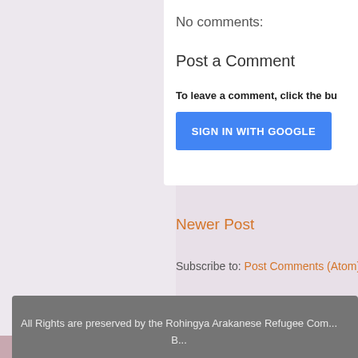No comments:
Post a Comment
To leave a comment, click the bu
SIGN IN WITH GOOGLE
Newer Post
Subscribe to: Post Comments (Atom)
All Rights are preserved by the Rohingya Arakanese Refugee Com... B...